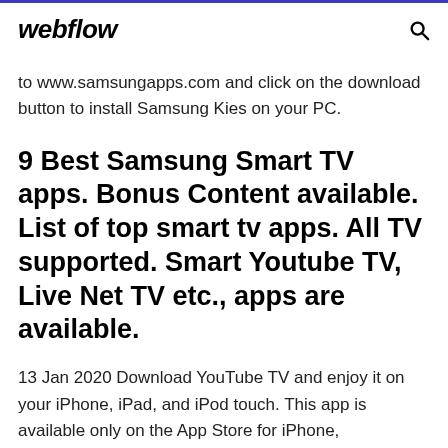webflow
to www.samsungapps.com and click on the download button to install Samsung Kies on your PC.
9 Best Samsung Smart TV apps. Bonus Content available. List of top smart tv apps. All TV supported. Smart Youtube TV, Live Net TV etc., apps are available.
13 Jan 2020 Download YouTube TV and enjoy it on your iPhone, iPad, and iPod touch. This app is available only on the App Store for iPhone,